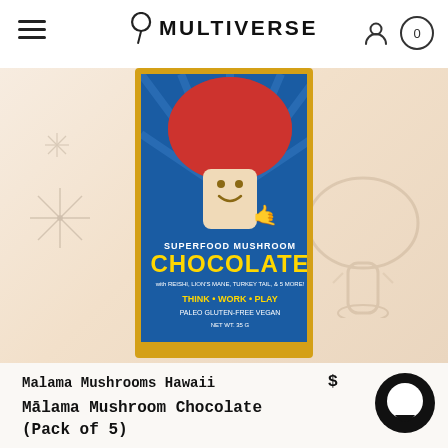MULTIVERSE
[Figure (photo): Product photo of Malama Mushrooms Hawaii Superfood Mushroom Chocolate bar packaging on a warm peach/cream gradient background with decorative mushroom and sparkle illustrations. The packaging is blue with a cartoon mushroom character and yellow 'CHOCOLATE' text. Text on package reads: SUPERFOOD MUSHROOM CHOCOLATE with REISHI, LION'S MANE, TURKEY TAIL, & 5 MORE! THINK • WORK • PLAY PALEO GLUTEN-FREE VEGAN NET WT. 35 G]
Malama Mushrooms Hawaii
Mālama Mushroom Chocolate (Pack of 5)